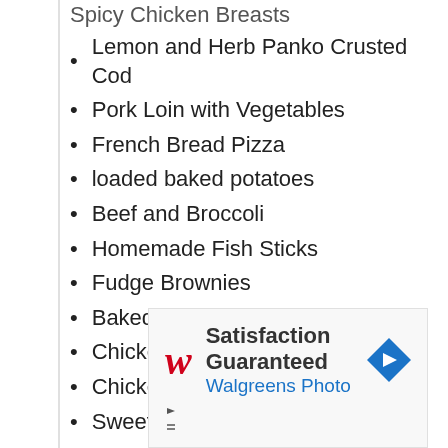Lemon and Herb Panko Crusted Cod
Pork Loin with Vegetables
French Bread Pizza
loaded baked potatoes
Beef and Broccoli
Homemade Fish Sticks
Fudge Brownies
Baked Apples
Chicken wings
Chicken breasts
Sweet potato chips
Roasted chickpeas
[Figure (other): Walgreens Photo advertisement banner with logo, 'Satisfaction Guaranteed' text, 'Walgreens Photo' subtitle in blue, and a blue diamond arrow icon]